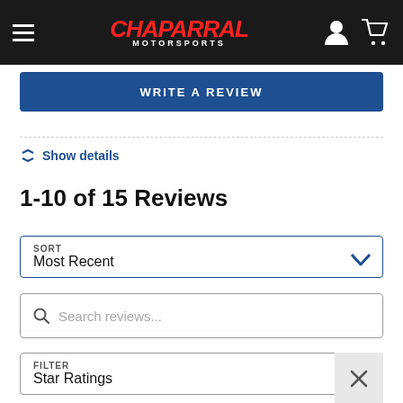Chaparral Motorsports
WRITE A REVIEW
Show details
1-10 of 15 Reviews
SORT
Most Recent
Search reviews...
FILTER
Star Ratings
Aug 12, 2022